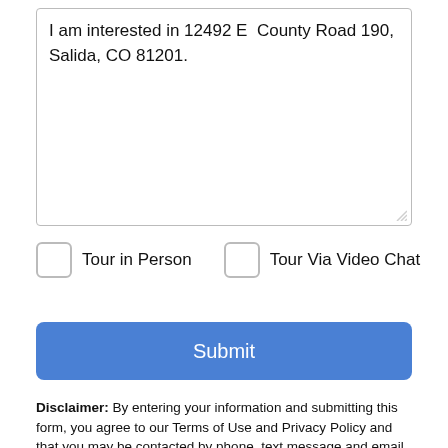I am interested in 12492 E  County Road 190, Salida, CO 81201.
Tour in Person
Tour Via Video Chat
Submit
Disclaimer: By entering your information and submitting this form, you agree to our Terms of Use and Privacy Policy and that you may be contacted by phone, text message and email about your inquiry.
Licensed in the State of Colorado, USA The content relating to real
Take a Tour
Ask A Question